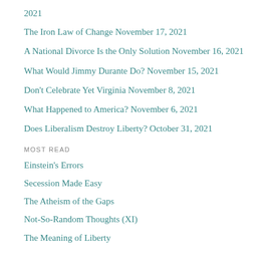2021
The Iron Law of Change November 17, 2021
A National Divorce Is the Only Solution November 16, 2021
What Would Jimmy Durante Do? November 15, 2021
Don't Celebrate Yet Virginia November 8, 2021
What Happened to America? November 6, 2021
Does Liberalism Destroy Liberty? October 31, 2021
MOST READ
Einstein's Errors
Secession Made Easy
The Atheism of the Gaps
Not-So-Random Thoughts (XI)
The Meaning of Liberty